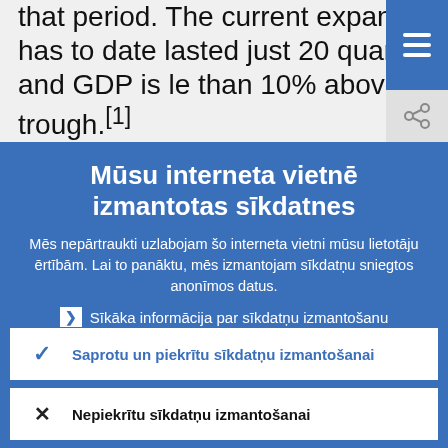quarters, with GDP increasing by 21% over that period. The current expansion has to date lasted just 20 quarters and GDP is less than 10% above the trough.[1]
Mūsu interneta vietnē izmantotas sīkdatnes
Mēs nepārtraukti uzlabojam šo interneta vietni mūsu lietotāju ērtībām. Lai to panāktu, mēs izmantojam sīkdatņu sniegtos anonīmos datus.
▶ Sīkāka informācija par sīkdatņu izmantošanu
✓ Saprotu un piekrītu sīkdatņu izmantošanai
✗ Nepiekrītu sīkdatņu izmantošanai